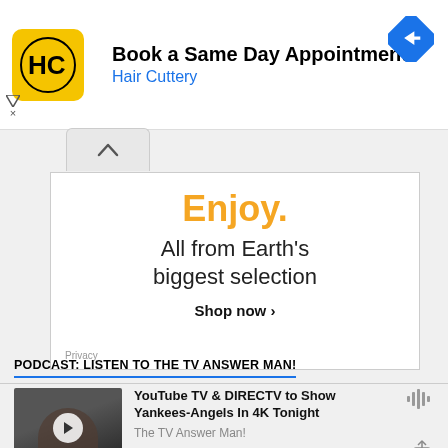[Figure (screenshot): Hair Cuttery ad banner with HC logo and navigation arrow icon]
Book a Same Day Appointment
Hair Cuttery
[Figure (screenshot): Amazon ad: Enjoy. All from Earth's biggest selection. Shop now.]
Enjoy. All from Earth's biggest selection. Shop now ▸
PODCAST: LISTEN TO THE TV ANSWER MAN!
[Figure (screenshot): Podcast thumbnail with play button showing a person]
YouTube TV & DIRECTV to Show Yankees-Angels In 4K Tonight
The TV Answer Man!